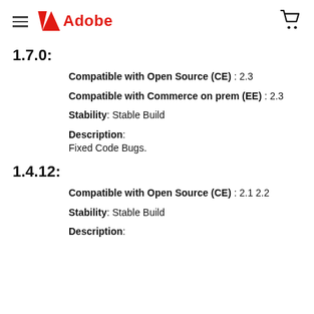Adobe
1.7.0:
Compatible with Open Source (CE) : 2.3
Compatible with Commerce on prem (EE) : 2.3
Stability: Stable Build
Description: Fixed Code Bugs.
1.4.12:
Compatible with Open Source (CE) : 2.1 2.2
Stability: Stable Build
Description: